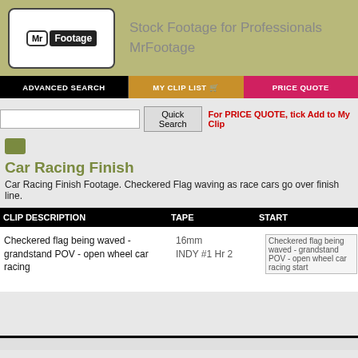[Figure (logo): MrFootage logo with Mr in bordered box and Footage in dark background]
Stock Footage for Professionals
MrFootage
ADVANCED SEARCH | MY CLIP LIST | PRICE QUOTE
Quick Search | For PRICE QUOTE, tick Add to My Clip
[Figure (illustration): Small olive/green colored thumbnail icon]
Car Racing Finish
Car Racing Finish Footage. Checkered Flag waving as race cars go over finish line.
| CLIP DESCRIPTION | TAPE | START |
| --- | --- | --- |
| Checkered flag being waved - grandstand POV - open wheel car racing | 16mm
INDY #1 Hr 2 | Checkered flag being waved - grandstand POV - open wheel car racing start |